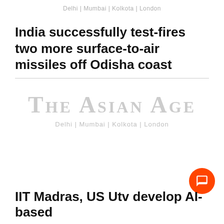Delhi | Mumbai | Kolkota | London
India successfully test-fires two more surface-to-air missiles off Odisha coast
[Figure (logo): The Asian Age newspaper logo with tagline Delhi | Mumbai | Kolkota | London]
IIT Madras, US Utv develop AI-based